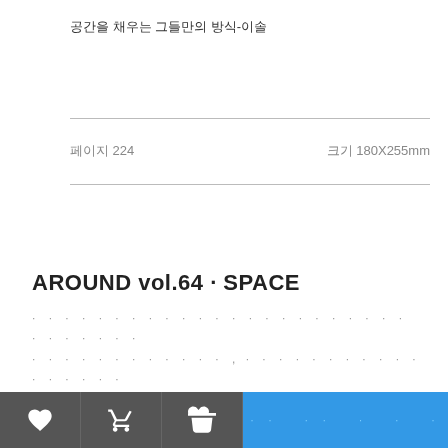공간을 채우는 그들만의 방식-이솔
페이지 224    크기 180X255mm
AROUND vol.64 · SPACE
· · · · · · · · · · · · · · · · · · · · · · · · · · · · · ·